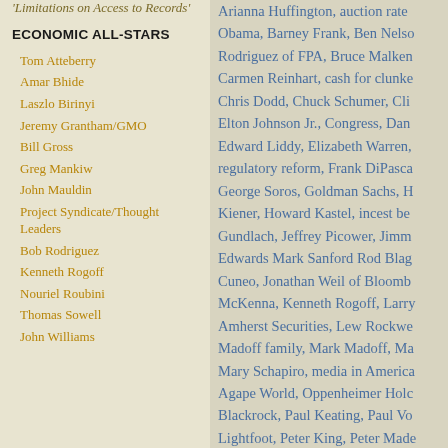'Limitations on Access to Records'
ECONOMIC ALL-STARS
Tom Atteberry
Amar Bhide
Laszlo Birinyi
Jeremy Grantham/GMO
Bill Gross
Greg Mankiw
John Mauldin
Project Syndicate/Thought Leaders
Bob Rodriguez
Kenneth Rogoff
Nouriel Roubini
Thomas Sowell
John Williams
Arianna Huffington, auction rate Obama, Barney Frank, Ben Nelson Rodriguez of FPA, Bruce Malken Carmen Reinhart, cash for clunke Chris Dodd, Chuck Schumer, Cli Elton Johnson Jr., Congress, Dan Edward Liddy, Elizabeth Warren, regulatory reform, Frank DiPasca George Soros, Goldman Sachs, H Kiener, Howard Kastel, incest be Gundlach, Jeffrey Picower, Jimm Edwards Mark Sanford Rod Blag Cuneo, Jonathan Weil of Bloomb McKenna, Kenneth Rogoff, Larry Amherst Securities, Lew Rockwe Madoff family, Mark Madoff, Ma Mary Schapiro, media in America Agape World, Oppenheimer Holc Blackrock, Paul Keating, Paul Vo Lightfoot, Peter King, Peter Made Rajaratnam of Galleon Group, Rh